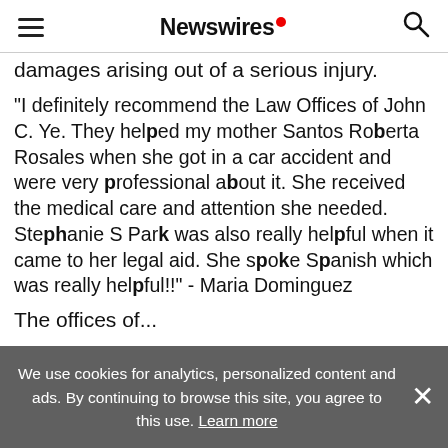Newswires
damages arising out of a serious injury.
“I definitely recommend the Law Offices of John C. Ye. They helped my mother Santos Roberta Rosales when she got in a car accident and were very professional about it. She received the medical care and attention she needed. Stephanie S Park was also really helpful when it came to her legal aid. She spoke Spanish which was really helpful!!” - Maria Dominguez
The offices of...
We use cookies for analytics, personalized content and ads. By continuing to browse this site, you agree to this use. Learn more